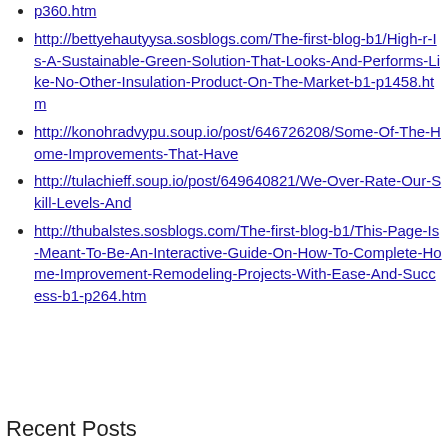p360.htm
http://bettyehautyysa.sosblogs.com/The-first-blog-b1/High-r-Is-A-Sustainable-Green-Solution-That-Looks-And-Performs-Like-No-Other-Insulation-Product-On-The-Market-b1-p1458.htm
http://konohradvypu.soup.io/post/646726208/Some-Of-The-Home-Improvements-That-Have
http://tulachieff.soup.io/post/649640821/We-Over-Rate-Our-Skill-Levels-And
http://thubalstes.sosblogs.com/The-first-blog-b1/This-Page-Is-Meant-To-Be-An-Interactive-Guide-On-How-To-Complete-Home-Improvement-Remodeling-Projects-With-Ease-And-Success-b1-p264.htm
Recent Posts